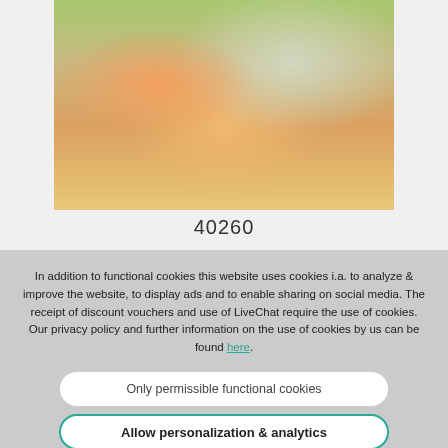[Figure (photo): Two older adults sitting at an outdoor table eating watermelon in a garden setting]
40260
In addition to functional cookies this website uses cookies i.a. to analyze & improve the website, to display ads and to enable sharing on social media. The receipt of discount vouchers and use of LiveChat require the use of cookies. Our privacy policy and further information on the use of cookies by us can be found here.
Only permissible functional cookies
Allow personalization & analytics
Accept all cookies